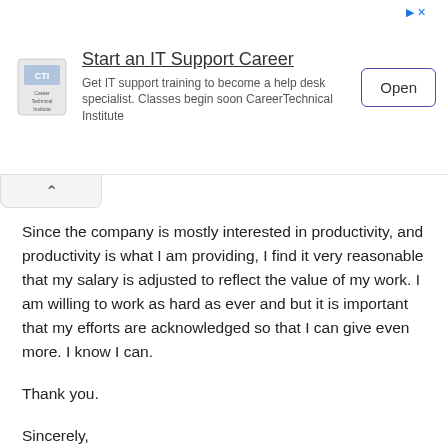[Figure (screenshot): Advertisement banner for CareerTechnical Institute IT Support Career with logo, title 'Start an IT Support Career', body text, and Open button]
Since the company is mostly interested in productivity, and productivity is what I am providing, I find it very reasonable that my salary is adjusted to reflect the value of my work. I am willing to work as hard as ever and but it is important that my efforts are acknowledged so that I can give even more. I know I can.
Thank you.
Sincerely,